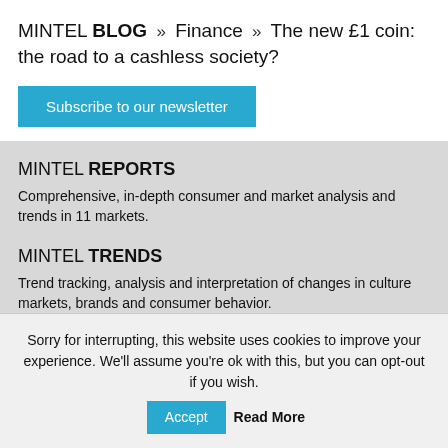MINTEL BLOG » Finance » The new £1 coin: the road to a cashless society?
Subscribe to our newsletter
MINTEL REPORTS
Comprehensive, in-depth consumer and market analysis and trends in 11 markets.
MINTEL TRENDS
Trend tracking, analysis and interpretation of changes in culture markets, brands and consumer behavior.
CONSULTING
Sorry for interrupting, this website uses cookies to improve your experience. We'll assume you're ok with this, but you can opt-out if you wish. Accept Read More